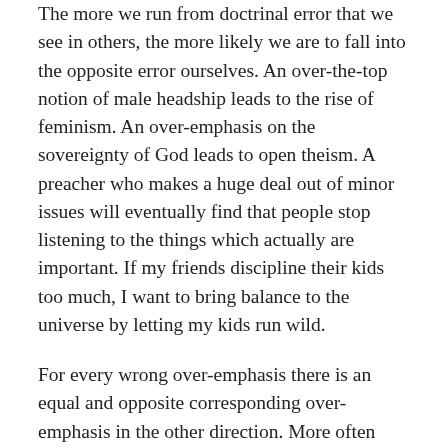The more we run from doctrinal error that we see in others, the more likely we are to fall into the opposite error ourselves. An over-the-top notion of male headship leads to the rise of feminism. An over-emphasis on the sovereignty of God leads to open theism. A preacher who makes a huge deal out of minor issues will eventually find that people stop listening to the things which actually are important. If my friends discipline their kids too much, I want to bring balance to the universe by letting my kids run wild.
For every wrong over-emphasis there is an equal and opposite corresponding over-emphasis in the other direction. More often than not when I have made a theological move it has been as much about moving away from something I perceived to be wrong as it is moving toward something I perceived to be right. That's not entirely wrong, but I think it does warrant caution.
It has made me want to move slower and ask more